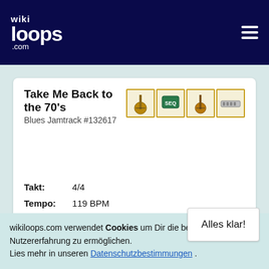wikiloops.com
Take Me Back to the 70's
Blues Jamtrack #132617
Takt: 4/4
Tempo: 119 BPM
Tonart: B major
1 2 3 4 5 >
wikiloops.com verwendet Cookies um Dir die beste Nutzererfahrung zu ermöglichen. Lies mehr in unseren Datenschutzbestimmungen .